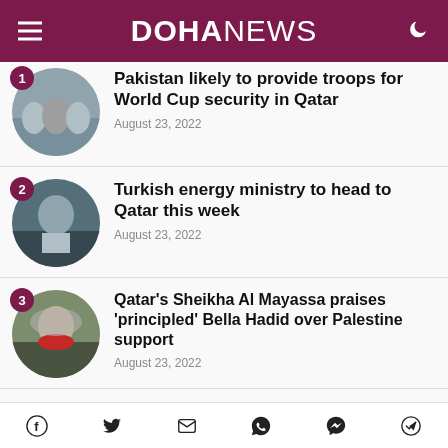DOHA NEWS
Pakistan likely to provide troops for World Cup security in Qatar — August 23, 2022
Turkish energy ministry to head to Qatar this week — August 23, 2022
Qatar's Sheikha Al Mayassa praises 'principled' Bella Hadid over Palestine support — August 23, 2022
Social share icons: Facebook, Twitter, Email, WhatsApp, Messenger, Telegram